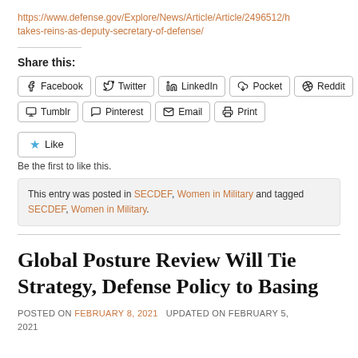https://www.defense.gov/Explore/News/Article/Article/2496512/h takes-reins-as-deputy-secretary-of-defense/
Share this:
Facebook  Twitter  LinkedIn  Pocket  Reddit  Tumblr  Pinterest  Email  Print
Like  Be the first to like this.
This entry was posted in SECDEF, Women in Military and tagged SECDEF, Women in Military.
Global Posture Review Will Tie Strategy, Defense Policy to Basing
POSTED ON FEBRUARY 8, 2021  UPDATED ON FEBRUARY 5, 2021